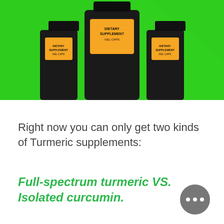[Figure (photo): Product photo of turmeric supplement bottles on a bright green background. Three dark/black bottles visible, center bottle has an orange label reading 'DIETARY SUPPLEMENT / GEL CAPS'.]
Right now you can only get two kinds of Turmeric supplements:
Full-spectrum turmeric VS. Isolated curcumin.
Most supplements are made with isolated Curcumin.(45.90)